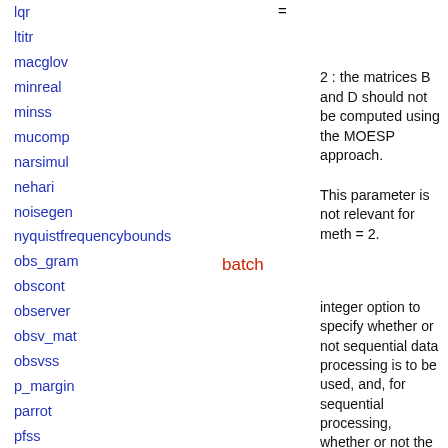lqr
ltitr
macglov
minreal
minss
mucomp
narsimul
nehari
noisegen
nyquistfrequencybounds
obs_gram
obscont
observer
obsv_mat
obsvss
p_margin
parrot
pfss
phasemag
pol2des
ppol
prbs_a
projsl
repfreq
ric_desc
=
2 : the matrices B and D should not be computed using the MOESP approach.
This parameter is not relevant for meth = 2.
batch
integer option to specify whether or not sequential data processing is to be used, and, for sequential processing, whether or not the current data block is the first block, an intermediate block,